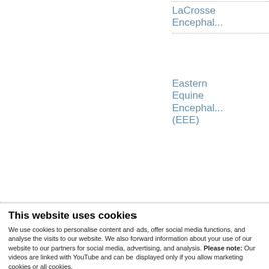LaCrosse Encephal...
Eastern Equine Encephal... (EEE)
[Figure (infographic): Social media icons row: Twitter (blue bird), Facebook (blue f), YouTube (red play), Instagram (gradient camera), LinkedIn (blue in)]
This website uses cookies
We use cookies to personalise content and ads, offer social media functions, and analyse the visits to our website. We also forward information about your use of our website to our partners for social media, advertising, and analysis. Please note: Our videos are linked with YouTube and can be displayed only if you allow marketing cookies or all cookies.
OK
Show details
belongs to the flaviviruses. The name for this group was influenced by the yellow fever virus, another member of the flavivirus group, as Latin “flavus” means “yellow”. Dengue fever, Japanese encephalitis, Tick-borne